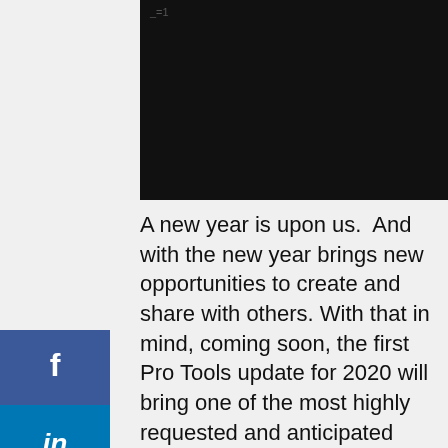[Figure (screenshot): Black video/media player area with watermark text '_=1' in top left corner and a hamburger menu icon in the top right corner]
A new year is upon us.  And with the new year brings new opportunities to create and share with others. With that in mind, coming soon, the first Pro Tools update for 2020 will bring one of the most highly requested and anticipated features to the world's industry-standard DAW. We're live at NAMM 2020 in Anaheim, where Pro Tools 2020 is being previewed to the